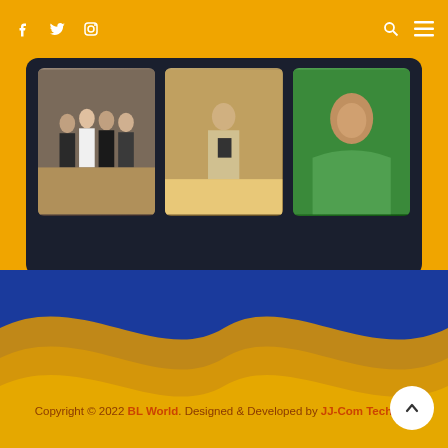Navigation bar with social icons (Facebook, Twitter, Instagram) and search/menu icons
[Figure (photo): Gallery panel showing three photos: group of people standing, person using device, and smiling person in green traditional attire]
[Figure (logo): BL World logo on blue background showing a figure helping another up stairs with a bar chart, with 'BL' text]
[Figure (infographic): Social media icons (Facebook, Twitter, Instagram) in gold/orange color on blue-gold wave background]
Copyright © 2022 BL World. Designed & Developed by JJ-Com Tech Ltd